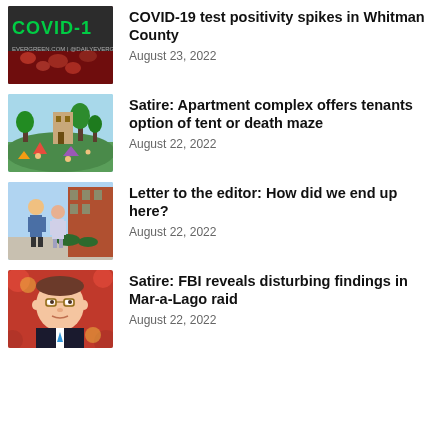[Figure (photo): COVID-19 graphic with text 'COVID-19' in green on dark background with EVERGREEN.COM | @DAILYEVERG watermark]
COVID-19 test positivity spikes in Whitman County
August 23, 2022
[Figure (illustration): Colorful cartoon illustration of people camping outdoors with tents on a hillside with trees and buildings]
Satire: Apartment complex offers tenants option of tent or death maze
August 22, 2022
[Figure (photo): Photo of two students standing outdoors in front of a brick building]
Letter to the editor: How did we end up here?
August 22, 2022
[Figure (illustration): Cartoon illustration of a man in a suit with glasses against a red background with decorative elements]
Satire: FBI reveals disturbing findings in Mar-a-Lago raid
August 22, 2022